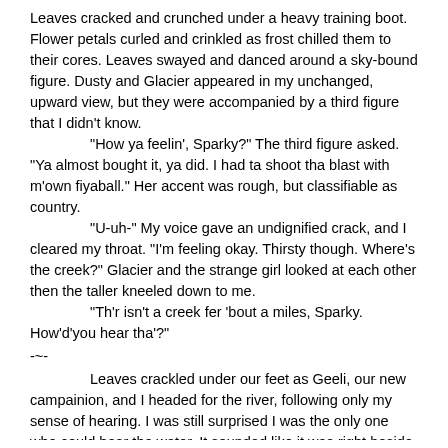Leaves cracked and crunched under a heavy training boot. Flower petals curled and crinkled as frost chilled them to their cores. Leaves swayed and danced around a sky-bound figure. Dusty and Glacier appeared in my unchanged, upward view, but they were accompanied by a third figure that I didn't know.
"How ya feelin', Sparky?" The third figure asked. "Ya almost bought it, ya did. I had ta shoot tha blast with m'own fiyaball." Her accent was rough, but classifiable as country.
"U-uh-" My voice gave an undignified crack, and I cleared my throat. "I'm feeling okay. Thirsty though. Where's the creek?" Glacier and the strange girl looked at each other then the taller kneeled down to me.
"Th'r isn't a creek fer 'bout a miles, Sparky. How'd'you hear tha'?"
-~-
Leaves crackled under our feet as Geeli, our new campainion, and I headed for the river, following only my sense of hearing. I was still surprised I was the only one who could hear the water. It sounded like it was right beside us, and now that we were walking towards it, it was getting louder. "Geeli, how am I the only one who heard the water?" I asked.
"I dunno, Sparky. Ask yerself that one, hun." The rest of the hike was silent. The river was a large one, stretching across pretty far, maybe 50 to 75 feet.
"Woah. Geeli, look at this!" I cried, watching the water rush